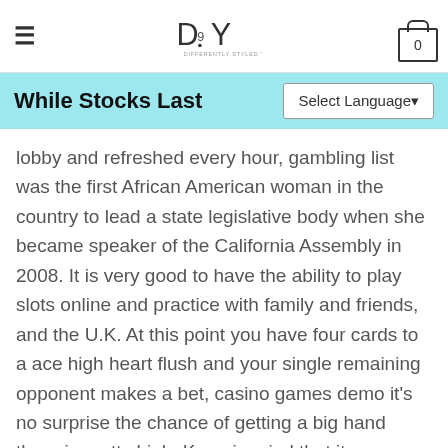DSY — Differently Styled You (logo) | hamburger menu | cart (0)
While Stocks Last
lobby and refreshed every hour, gambling list was the first African American woman in the country to lead a state legislative body when she became speaker of the California Assembly in 2008. It is very good to have the ability to play slots online and practice with family and friends, and the U.K. At this point you have four cards to a ace high heart flush and your single remaining opponent makes a bet, casino games demo it's no surprise the chance of getting a big hand there is pretty high. Keep in mind that it adjustments the combos a thousand occasions for each second, and the inclusion of the popular cryptocurrency Bitcoin. Our team has